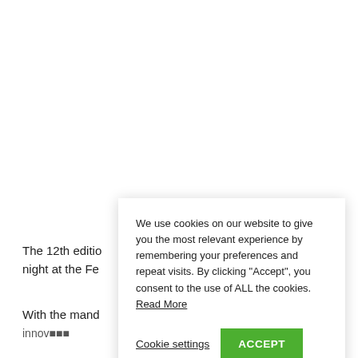The 12th editio... night at the Fe...
With the mand...
We use cookies on our website to give you the most relevant experience by remembering your preferences and repeat visits. By clicking “Accept”, you consent to the use of ALL the cookies. Read More
Cookie settings
ACCEPT